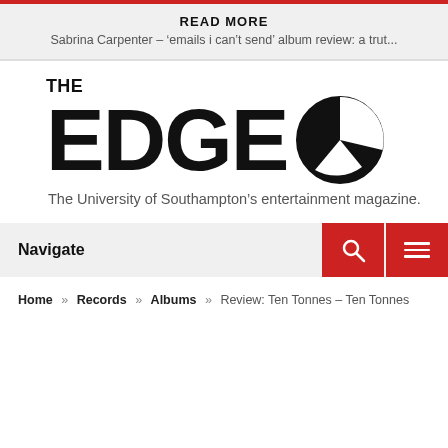READ MORE
Sabrina Carpenter – 'emails i can't send' album review: a trut...
[Figure (logo): The Edge magazine logo — bold black text 'THE EDGE' with a circle containing a diagonal slash graphic]
The University of Southampton's entertainment magazine.
Navigate
Home » Records » Albums » Review: Ten Tonnes – Ten Tonnes